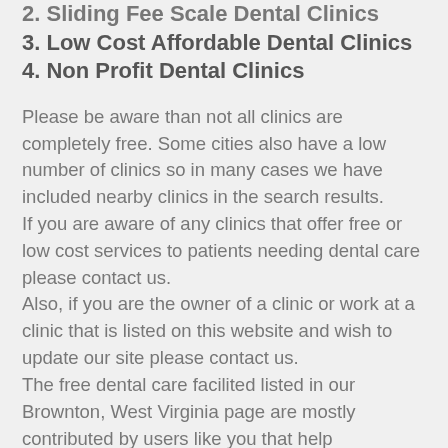2. Sliding Fee Scale Dental Clinics
3. Low Cost Affordable Dental Clinics
4. Non Profit Dental Clinics
Please be aware than not all clinics are completely free. Some cities also have a low number of clinics so in many cases we have included nearby clinics in the search results.
If you are aware of any clinics that offer free or low cost services to patients needing dental care please contact us.
Also, if you are the owner of a clinic or work at a clinic that is listed on this website and wish to update our site please contact us.
The free dental care facilited listed in our Brownton, West Virginia page are mostly contributed by users like you that help